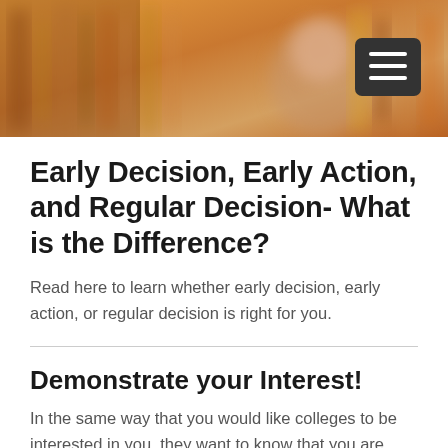[Figure (photo): Blurred background photo of a library or bookshelf with warm orange/brown tones, with a dark hamburger menu button in the top right corner]
Early Decision, Early Action, and Regular Decision- What is the Difference?
Read here to learn whether early decision, early action, or regular decision is right for you.
Demonstrate your Interest!
In the same way that you would like colleges to be interested in you, they want to know that you are interested in them. Showing your